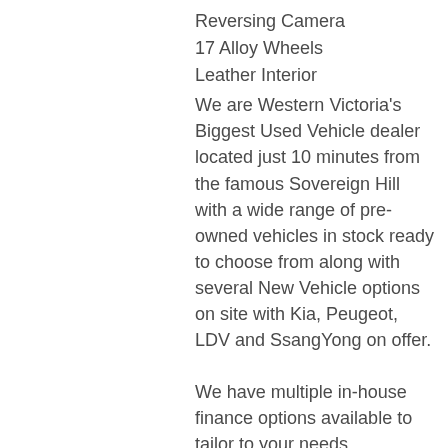Reversing Camera
17 Alloy Wheels
Leather Interior
We are Western Victoria's Biggest Used Vehicle dealer located just 10 minutes from the famous Sovereign Hill with a wide range of pre-owned vehicles in stock ready to choose from along with several New Vehicle options on site with Kia, Peugeot, LDV and SsangYong on offer.
We have multiple in-house finance options available to tailor to your needs. We can assist interstate purchasers with easy options to transport the vehicle to your home, office or nearest depot.
Enquire now to discuss your purchase with one of our team members! Open 6 Days a week, 8:30am-5:30pm Weekdays & 8:30am-4:30pm Saturdays